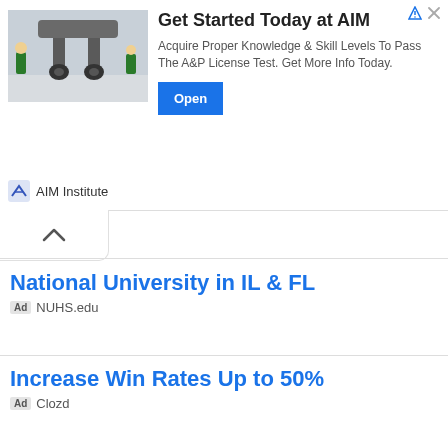[Figure (infographic): AIM Institute advertisement banner with airplane undercarriage photo, headline 'Get Started Today at AIM', body text, and Open button]
Get Started Today at AIM
Acquire Proper Knowledge & Skill Levels To Pass The A&P License Test. Get More Info Today.
AIM Institute
National University in IL & FL
Ad NUHS.edu
Increase Win Rates Up to 50%
Ad Clozd